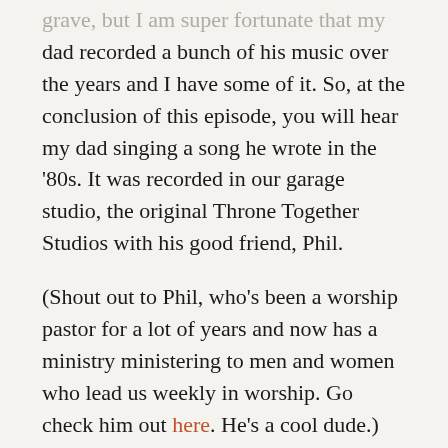grave, but I am super fortunate that my dad recorded a bunch of his music over the years and I have some of it. So, at the conclusion of this episode, you will hear my dad singing a song he wrote in the '80s. It was recorded in our garage studio, the original Throne Together Studios with his good friend, Phil.
(Shout out to Phil, who's been a worship pastor for a lot of years and now has a ministry ministering to men and women who lead us weekly in worship. Go check him out here. He's a cool dude.)
Anyway, this week's episode is what it's